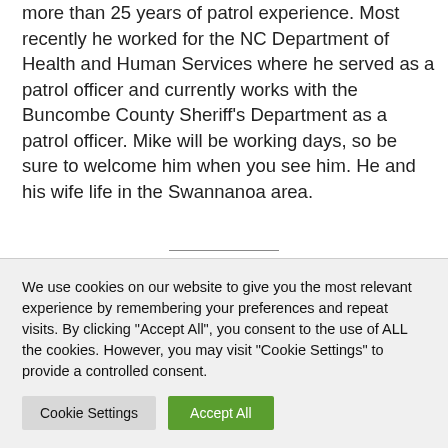more than 25 years of patrol experience. Most recently he worked for the NC Department of Health and Human Services where he served as a patrol officer and currently works with the Buncombe County Sheriff's Department as a patrol officer. Mike will be working days, so be sure to welcome him when you see him. He and his wife life in the Swannanoa area.
Right of Way Parking Claims
We use cookies on our website to give you the most relevant experience by remembering your preferences and repeat visits. By clicking "Accept All", you consent to the use of ALL the cookies. However, you may visit "Cookie Settings" to provide a controlled consent.